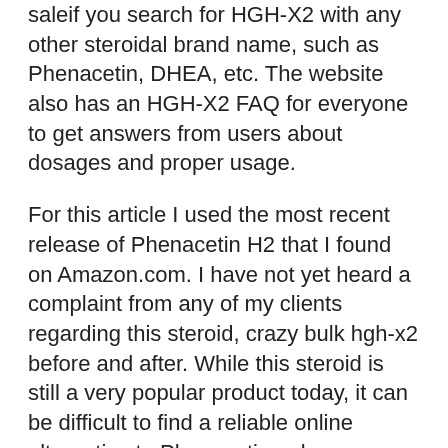saleif you search for HGH-X2 with any other steroidal brand name, such as Phenacetin, DHEA, etc. The website also has an HGH-X2 FAQ for everyone to get answers from users about dosages and proper usage.
For this article I used the most recent release of Phenacetin H2 that I found on Amazon.com. I have not yet heard a complaint from any of my clients regarding this steroid, crazy bulk hgh-x2 before and after. While this steroid is still a very popular product today, it can be difficult to find a reliable online alternative to Phenacetin unless you are able to see one of the ads for it on Craigslist, hgh-x2 side effects. The HGH-X2 ads for it are a little more expensive than the Phenacetin ads you generally find on Craigslist but the difference isn't worth it if you use PEDs.